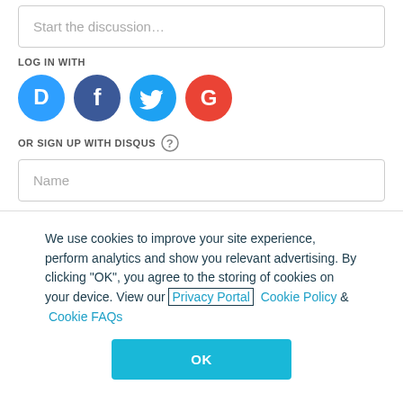Start the discussion…
LOG IN WITH
[Figure (illustration): Four social login icons: Disqus (blue), Facebook (dark blue), Twitter (light blue), Google (red)]
OR SIGN UP WITH DISQUS (?)
Name
We use cookies to improve your site experience, perform analytics and show you relevant advertising. By clicking "OK", you agree to the storing of cookies on your device. View our Privacy Portal  Cookie Policy &  Cookie FAQs
OK